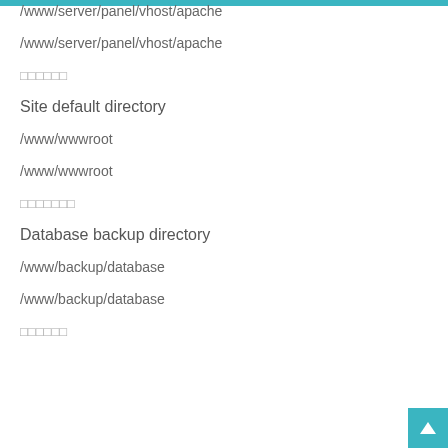/www/server/panel/vhost/apache
/www/server/panel/vhost/apache
□□□□□□
Site default directory
/www/wwwroot
/www/wwwroot
□□□□□□□
Database backup directory
/www/backup/database
/www/backup/database
□□□□□□